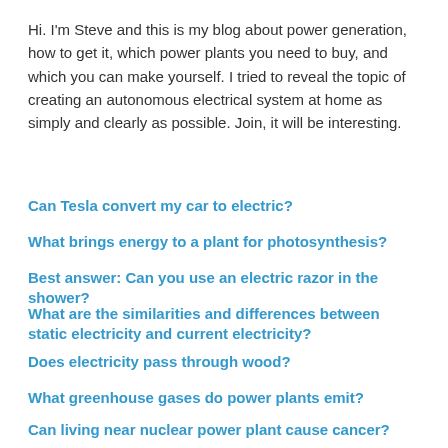Hi. I'm Steve and this is my blog about power generation, how to get it, which power plants you need to buy, and which you can make yourself. I tried to reveal the topic of creating an autonomous electrical system at home as simply and clearly as possible. Join, it will be interesting.
Can Tesla convert my car to electric?
What brings energy to a plant for photosynthesis?
Best answer: Can you use an electric razor in the shower?
What are the similarities and differences between static electricity and current electricity?
Does electricity pass through wood?
What greenhouse gases do power plants emit?
Can living near nuclear power plant cause cancer?